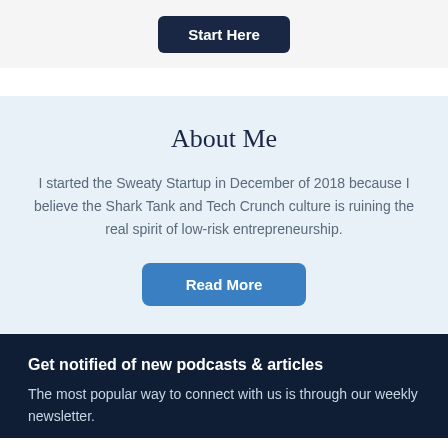Start Here
About Me
I started the Sweaty Startup in December of 2018 because I believe the Shark Tank and Tech Crunch culture is ruining the real spirit of low-risk entrepreneurship.
Read More
Get notified of new podcasts & articles
The most popular way to connect with us is through our weekly newsletter.